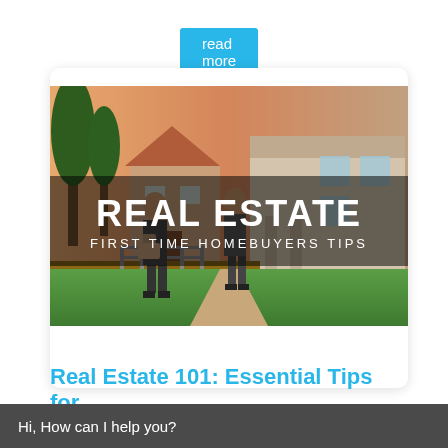read more
[Figure (illustration): Real Estate blog card image with two people in front of a house. Overlaid text reads 'REAL ESTATE' and 'FIRST TIME HOMEBUYERS TIPS' on a dark semi-transparent banner.]
Real Estate 101: Essential Tips for
close
Hi, How can I help you?